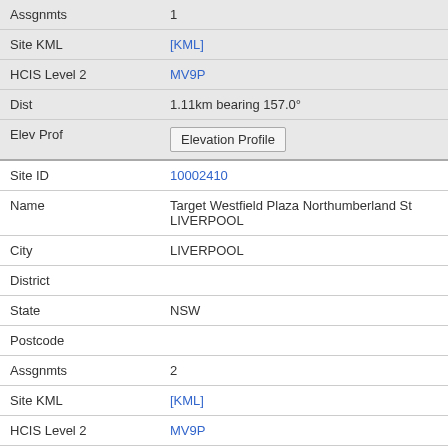| Assgnmts | 1 |
| Site KML | [KML] |
| HCIS Level 2 | MV9P |
| Dist | 1.11km bearing 157.0° |
| Elev Prof | Elevation Profile |
| Site ID | 10002410 |
| Name | Target Westfield Plaza Northumberland St LIVERPOOL |
| City | LIVERPOOL |
| District |  |
| State | NSW |
| Postcode |  |
| Assgnmts | 2 |
| Site KML | [KML] |
| HCIS Level 2 | MV9P |
| Dist | 1.13km bearing 159.8° |
| Elev Prof | Elevation Profile |